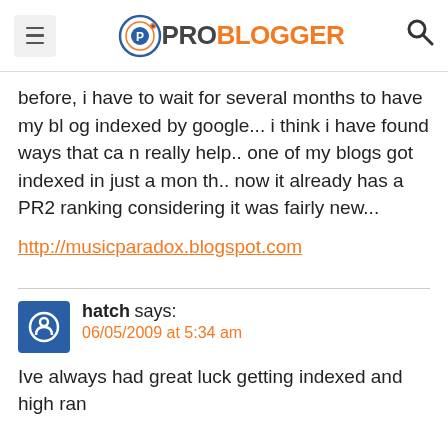PROBLOGGER
before, i have to wait for several months to have my blog indexed by google... i think i have found ways that can really help.. one of my blogs got indexed in just a month.. now it already has a PR2 ranking considering it was fairly new...
http://musicparadox.blogspot.com
hatch says: 06/05/2009 at 5:34 am
Ive always had great luck getting indexed and high ran